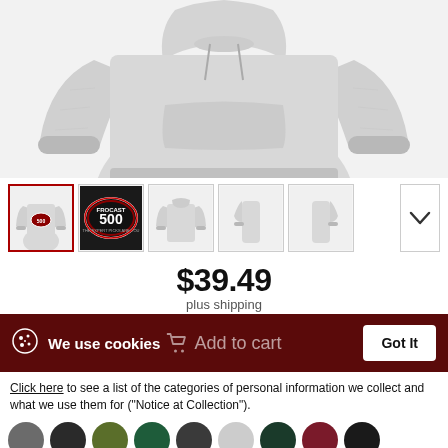[Figure (photo): Main product image of a light grey hoodie sweatshirt shown from the back/front, displayed on a light grey background]
[Figure (photo): Row of 5 product thumbnail images showing different views of the Frocast 500 hoodie, plus a down-arrow navigation button]
$39.49
plus shipping
We use cookies
Add to cart
Got It
Click here to see a list of the categories of personal information we collect and what we use them for ("Notice at Collection").
Privacy Policy
Do Not Sell My Personal Information
By using this website, I agree to the Terms and Conditions